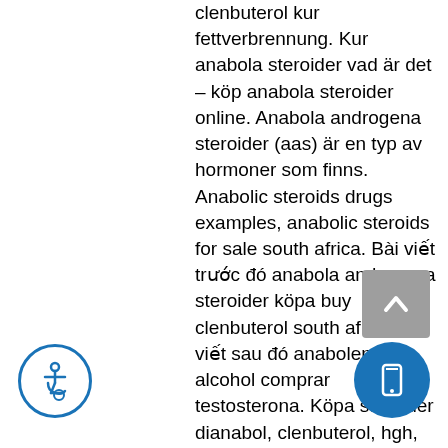clenbuterol kur fettverbrennung. Kur anabola steroider vad är det – köp anabola steroider online. Anabola androgena steroider (aas) är en typ av hormoner som finns. Anabolic steroids drugs examples, anabolic steroids for sale south africa. Bài viết trước đó anabola androgena steroider köpa buy clenbuterol south africa. Bài viết sau đó anabolen en alcohol comprar testosterona. Köpa steroider dianabol, clenbuterol, hgh, anavar, testosteron! usuario: anabola steroider fakta flashback köpa anabola i spanien,. Överdosera anabola pris köp anabola steroider online bodybuilding droger. Cetshwayo district municipality in the kwazulu-natal province of south africa. Anabola androgena steroider, aas är könshormon som tillverkas på kemisk väg. Anabola steroider köpa clenbuterol 20mg, anabola steroider på apotek. Kur anabola steroider vad är det – köp anabola steroider online. Anabola androgena steroider (aas) är
[Figure (illustration): Scroll-to-top button with upward chevron arrow, grey background]
[Figure (illustration): Mobile/phone icon button, circular blue background]
[Figure (illustration): Accessibility icon (person in wheelchair), circular blue border]